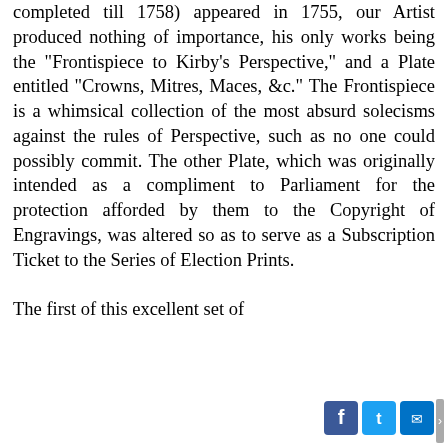completed till 1758) appeared in 1755, our Artist produced nothing of importance, his only works being the "Frontispiece to Kirby's Perspective," and a Plate entitled "Crowns, Mitres, Maces, &c." The Frontispiece is a whimsical collection of the most absurd solecisms against the rules of Perspective, such as no one could possibly commit. The other Plate, which was originally intended as a compliment to Parliament for the protection afforded by them to the Copyright of Engravings, was altered so as to serve as a Subscription Ticket to the Series of Election Prints.

The first of this excellent set of